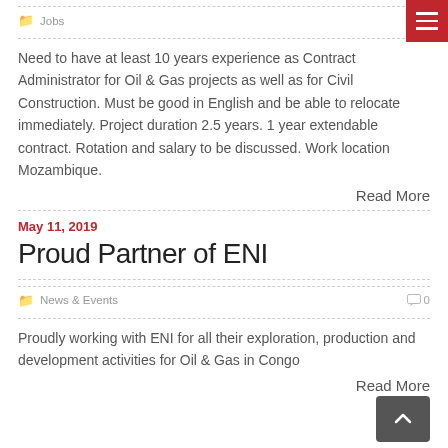Jobs
Need to have at least 10 years experience as Contract Administrator for Oil & Gas projects as well as for Civil Construction. Must be good in English and be able to relocate immediately. Project duration 2.5 years. 1 year extendable contract. Rotation and salary to be discussed. Work location Mozambique.
Read More
May 11, 2019
Proud Partner of ENI
News & Events
Proudly working with ENI for all their exploration, production and development activities for Oil & Gas in Congo
Read More